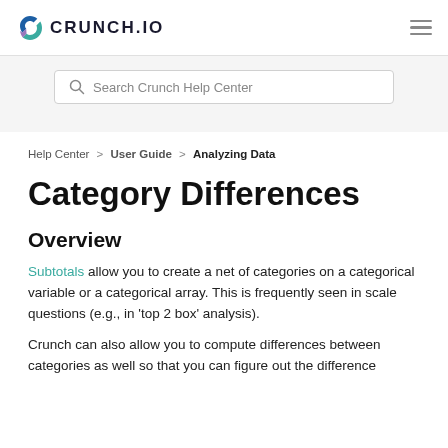CRUNCH.IO
Search Crunch Help Center
Help Center > User Guide > Analyzing Data
Category Differences
Overview
Subtotals allow you to create a net of categories on a categorical variable or a categorical array. This is frequently seen in scale questions (e.g., in 'top 2 box' analysis).
Crunch can also allow you to compute differences between categories as well so that you can figure out the difference